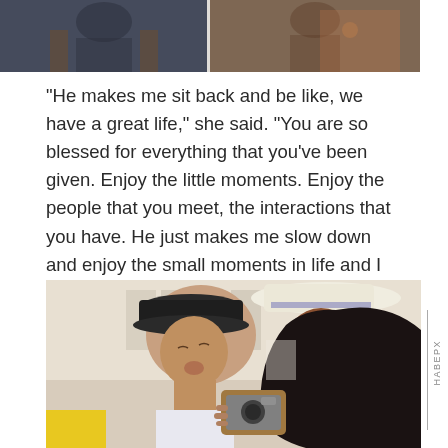[Figure (photo): Two people sitting, appears to be a TV show or interview setting, split into two panels side by side]
"He makes me sit back and be like, we have a great life," she said. "You are so blessed for everything that you've been given. Enjoy the little moments. Enjoy the people that you meet, the interactions that you have. He just makes me slow down and enjoy the small moments in life and I think that everyone can do that."
[Figure (photo): A couple about to kiss, man wearing a dark bucket hat, woman wearing a white wide-brim hat and glasses, holding a camera. Watermark: HABEPX]